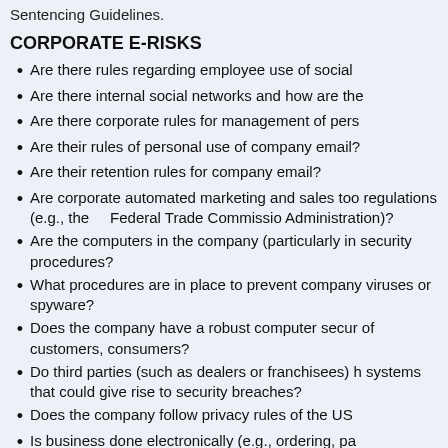Sentencing Guidelines.
CORPORATE E-RISKS
Are there rules regarding employee use of social
Are there internal social networks and how are the
Are there corporate rules for management of pers
Are their rules of personal use of company email?
Are their retention rules for company email?
Are corporate automated marketing and sales too regulations (e.g., the Federal Trade Commissio Administration)?
Are the computers in the company (particularly in security procedures?
What procedures are in place to prevent company viruses or spyware?
Does the company have a robust computer secur of customers, consumers?
Do third parties (such as dealers or franchisees) h systems that could give rise to security breaches?
Does the company follow privacy rules of the US
Is business done electronically (e.g., ordering, pa
"The Master Plan"